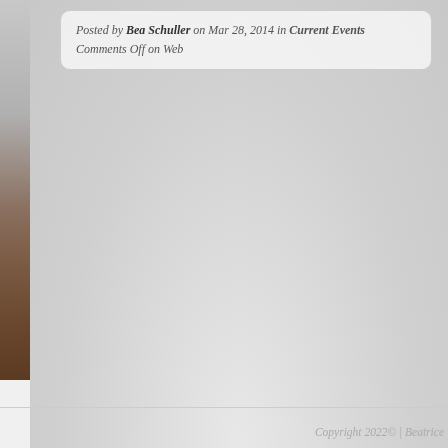Posted by Bea Schuller on Mar 28, 2014 in Current Events
Comments Off on Web
Copyright 2022© | Beatrice